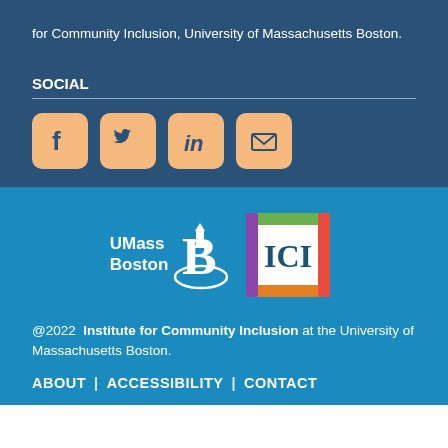for Community Inclusion, University of Massachusetts Boston.
SOCIAL
[Figure (illustration): Four social media icon buttons (Facebook, Twitter, LinkedIn, Email) in orange rounded squares on dark blue background]
[Figure (logo): UMass Boston ICI (Institute for Community Inclusion) logo — UMass Boston wordmark with lighthouse B symbol and colorful ICI square logo]
@2022  Institute for Community Inclusion at the University of Massachusetts Boston.
ABOUT  |  ACCESSIBILITY  |  CONTACT